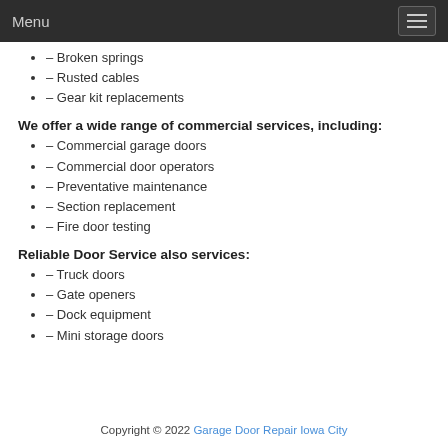Menu
– Broken springs
– Rusted cables
– Gear kit replacements
We offer a wide range of commercial services, including:
– Commercial garage doors
– Commercial door operators
– Preventative maintenance
– Section replacement
– Fire door testing
Reliable Door Service also services:
– Truck doors
– Gate openers
– Dock equipment
– Mini storage doors
Copyright © 2022 Garage Door Repair Iowa City